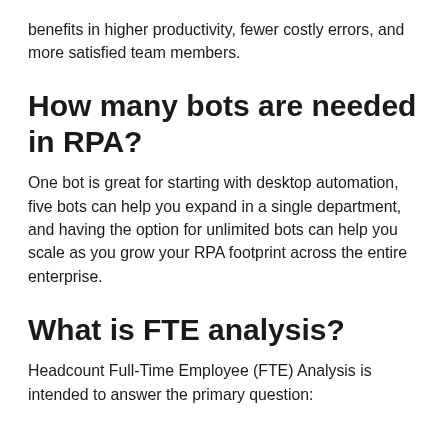benefits in higher productivity, fewer costly errors, and more satisfied team members.
How many bots are needed in RPA?
One bot is great for starting with desktop automation, five bots can help you expand in a single department, and having the option for unlimited bots can help you scale as you grow your RPA footprint across the entire enterprise.
What is FTE analysis?
Headcount Full-Time Employee (FTE) Analysis is intended to answer the primary question: